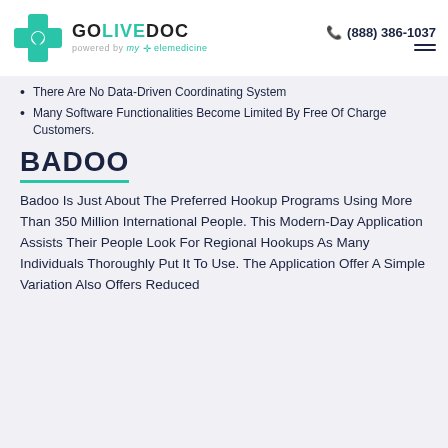GOLIVEDOC powered by my + elemedicine | (888) 386-1037
There Are No Data-Driven Coordinating System
Many Software Functionalities Become Limited By Free Of Charge Customers.
[Figure (logo): BADOO logo in dark navy bold text with teal underline]
Badoo Is Just About The Preferred Hookup Programs Using More Than 350 Million International People. This Modern-Day Application Assists Their People Look For Regional Hookups As Many Individuals Thoroughly Put It To Use. The Application Offer A Simple Variation Also Offers Reduced